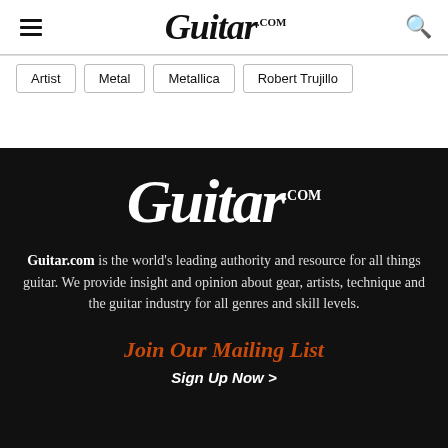Guitar.com
Artist
Metal
Metallica
Robert Trujillo
[Figure (logo): Guitar.com logo in white italic serif font on black background]
Guitar.com is the world's leading authority and resource for all things guitar. We provide insight and opinion about gear, artists, technique and the guitar industry for all genres and skill levels.
Join Our Mailing List
Sign Up Now >